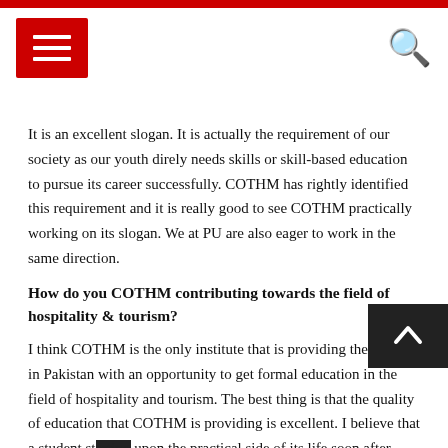Navigation header with hamburger menu and search icon
It is an excellent slogan. It is actually the requirement of our society as our youth direly needs skills or skill-based education to pursue its career successfully. COTHM has rightly identified this requirement and it is really good to see COTHM practically working on its slogan. We at PU are also eager to work in the same direction.
How do you COTHM contributing towards the field of hospitality & tourism?
I think COTHM is the only institute that is providing the youth in Pakistan with an opportunity to get formal education in the field of hospitality and tourism. The best thing is that the quality of education that COTHM is providing is excellent. I believe that a student starts working upon the practical side of its life soon after entering COTHM
How is PU going to facilitate COTHM in producing skilled manpower